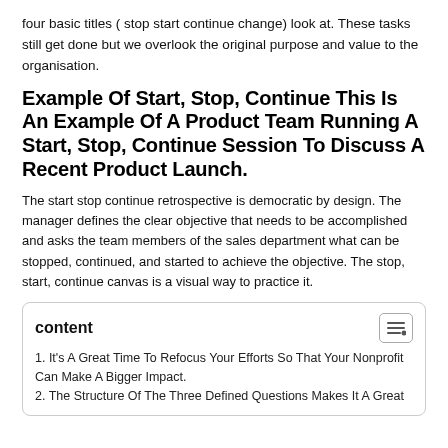four basic titles ( stop start continue change) look at. These tasks still get done but we overlook the original purpose and value to the organisation.
Example Of Start, Stop, Continue This Is An Example Of A Product Team Running A Start, Stop, Continue Session To Discuss A Recent Product Launch.
The start stop continue retrospective is democratic by design. The manager defines the clear objective that needs to be accomplished and asks the team members of the sales department what can be stopped, continued, and started to achieve the objective. The stop, start, continue canvas is a visual way to practice it.
| content |
| --- |
| 1. It's A Great Time To Refocus Your Efforts So That Your Nonprofit Can Make A Bigger Impact. |
| 2. The Structure Of The Three Defined Questions Makes It A Great |